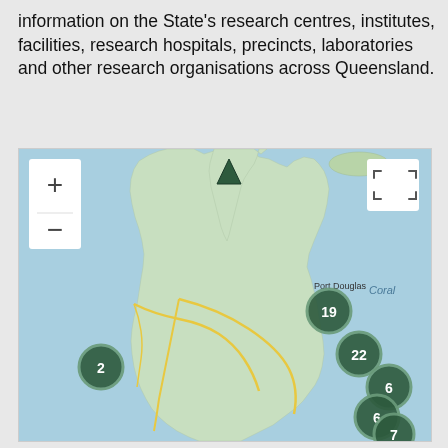information on the State's research centres, institutes, facilities, research hospitals, precincts, laboratories and other research organisations across Queensland.
[Figure (map): Interactive map of Queensland, Australia showing clustered location markers for research centres. Clusters labeled: 19 (near Port Douglas/Cairns), 22 (Townsville region), 2 (Mt Isa region), 6 (Mackay/Whitsundays), 6 (Rockhampton), 7 (Sunshine Coast/Brisbane area). One dark green triangle pin marker at top. Map shows Queensland coastline with Coral Sea to the east. Zoom controls (+/-) in top-left white box, fullscreen icon in top-right white box.]